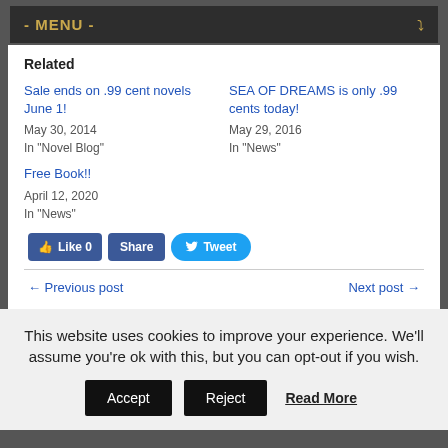- MENU -
Related
Sale ends on .99 cent novels June 1!
May 30, 2014
In "Novel Blog"
SEA OF DREAMS is only .99 cents today!
May 29, 2016
In "News"
Free Book!!
April 12, 2020
In "News"
Like 0   Share   Tweet
← Previous post    Next post →
This website uses cookies to improve your experience. We'll assume you're ok with this, but you can opt-out if you wish.
Accept   Reject   Read More